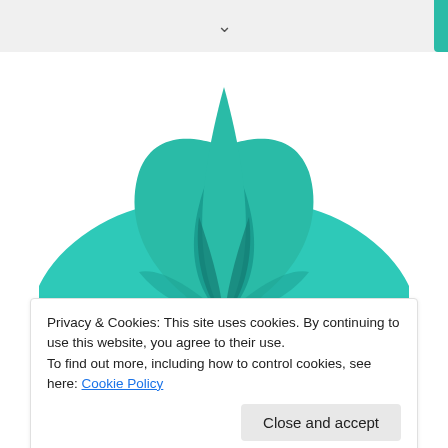[Figure (logo): Teal lotus flower logo made of overlapping petal shapes in various teal/turquoise shades]
Privacy & Cookies: This site uses cookies. By continuing to use this website, you agree to their use.
To find out more, including how to control cookies, see here: Cookie Policy
Close and accept